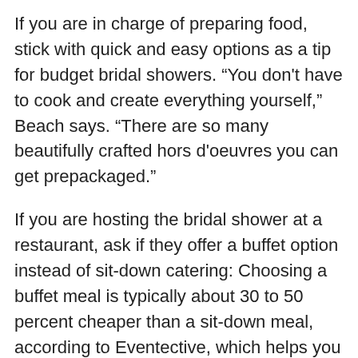If you are in charge of preparing food, stick with quick and easy options as a tip for budget bridal showers. “You don't have to cook and create everything yourself,” Beach says. “There are so many beautifully crafted hors d'oeuvres you can get prepackaged.”
If you are hosting the bridal shower at a restaurant, ask if they offer a buffet option instead of sit-down catering: Choosing a buffet meal is typically about 30 to 50 percent cheaper than a sit-down meal, according to Eventective, which helps you find venues and event services.
If you've got your heart set on sit-down dining, narrow down the menu options in advance. You or the restaurant can make a simple printout of a few entree choices and not share full menus with guests. (Adding the bride’s name to the top of a personalized menu is also a nice touch.) In addition to being a tip for budget bridal showers, this strategy can also